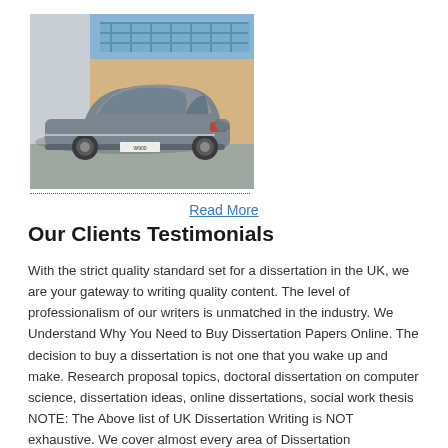[Figure (photo): A grey luxury sedan car parked in front of a brick building with large glass windows. The car is viewed from the rear-left angle.]
Read More
Our Clients Testimonials
With the strict quality standard set for a dissertation in the UK, we are your gateway to writing quality content. The level of professionalism of our writers is unmatched in the industry. We Understand Why You Need to Buy Dissertation Papers Online. The decision to buy a dissertation is not one that you wake up and make. Research proposal topics, doctoral dissertation on computer science, dissertation ideas, online dissertations, social work thesis NOTE: The Above list of UK Dissertation Writing is NOT exhaustive. We cover almost every area of Dissertation